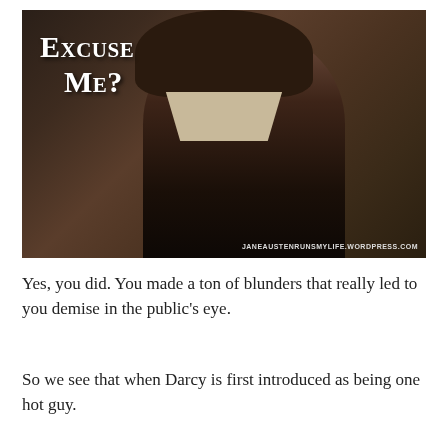[Figure (photo): A meme image showing a man in period costume (resembling Mr. Darcy) with a serious expression, wearing a dark coat and white cravat, with text overlay reading 'Excuse Me?' and watermark 'JANEAUSTENRUNSMYLIFE.WORDPRESS.COM']
Yes, you did. You made a ton of blunders that really led to you demise in the public's eye.
So we see that when Darcy is first introduced as being one hot guy.